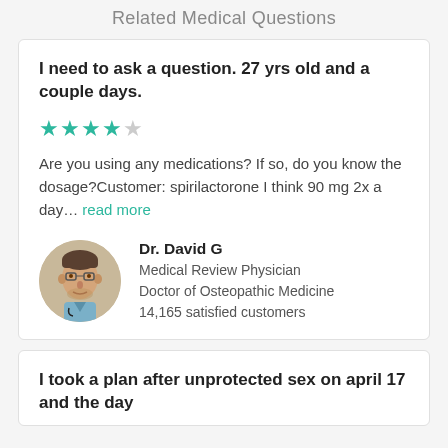Related Medical Questions
I need to ask a question. 27 yrs old and a couple days.
[Figure (other): 4-star rating with 4 filled teal stars and 1 empty gray star]
Are you using any medications? If so, do you know the dosage?Customer: spirilactorone I think 90 mg 2x a day… read more
[Figure (photo): Circular portrait photo of Dr. David G, a male physician wearing glasses and scrubs]
Dr. David G
Medical Review Physician
Doctor of Osteopathic Medicine
14,165 satisfied customers
I took a plan after unprotected sex on april 17 and the day